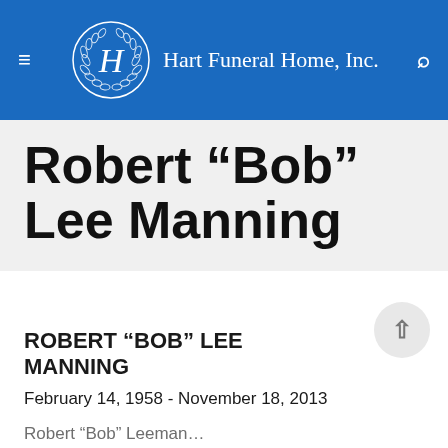Hart Funeral Home, Inc.
Robert “Bob” Lee Manning
ROBERT “BOB” LEE MANNING
February 14, 1958 - November 18, 2013
Posted on November 21, 2013 at 10:50 PM • 5 Comments